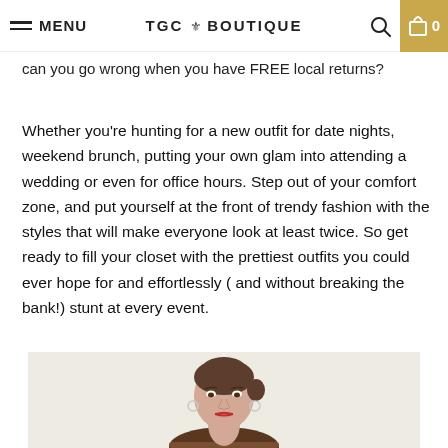MENU | TGC BOUTIQUE | 0
can you go wrong when you have FREE local returns?
Whether you're hunting for a new outfit for date nights, weekend brunch, putting your own glam into attending a wedding or even for office hours. Step out of your comfort zone, and put yourself at the front of trendy fashion with the styles that will make everyone look at least twice. So get ready to fill your closet with the prettiest outfits you could ever hope for and effortlessly ( and without breaking the bank!) stunt at every event.
[Figure (photo): A woman with brown hair pulled back, wearing a leopard print top, photographed against a light background.]